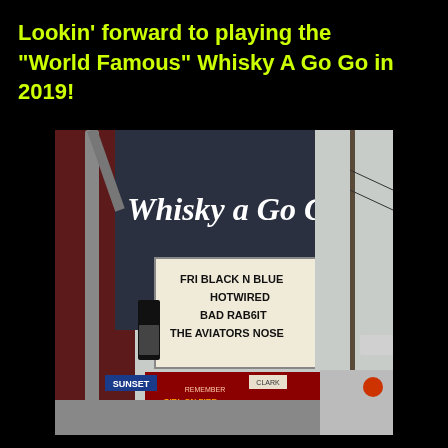Lookin' forward to playing the "World Famous" Whisky A Go Go in 2019!
[Figure (photo): Street photograph of the Whisky a Go Go venue marquee sign on Sunset Blvd. The marquee reads: FRI BLACK N BLUE / HOTWIRED / BAD RABBIT / THE AVIATORS    NOSE. Below the marquee is a Hunger Games Catching Fire advertisement on a bus shelter. A red traffic light is visible on the right side.]